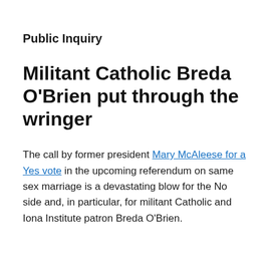Public Inquiry
Militant Catholic Breda O'Brien put through the wringer
The call by former president Mary McAleese for a Yes vote in the upcoming referendum on same sex marriage is a devastating blow for the No side and, in particular, for militant Catholic and Iona Institute patron Breda O'Brien.